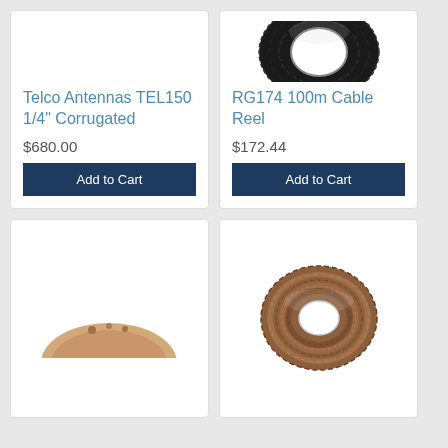[Figure (photo): Black coaxial cable reel wrapped in plastic, viewed from front, donut shape]
RG174 100m Cable Reel
$172.44
Add to Cart
Telco Antennas TEL150 1/4" Corrugated
$680.00
Add to Cart
[Figure (photo): Top portion of a beige/cream colored dome antenna visible at top of card]
[Figure (photo): Brown/copper coaxial cable reel, transparent casing showing copper wire coiled inside]